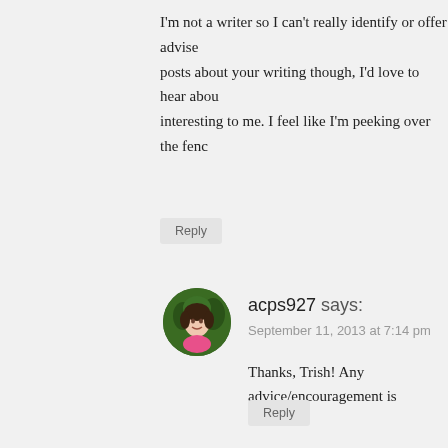I'm not a writer so I can't really identify or offer advice on posts about your writing though, I'd love to hear about interesting to me. I feel like I'm peeking over the fence
Reply
acps927 says:
September 11, 2013 at 7:14 pm
[Figure (photo): Circular avatar photo of a woman with dark hair wearing a pink shirt, against a green background]
Thanks, Trish! Any advice/encouragement is
Reply
Leave a Reply
Enter your comment here...